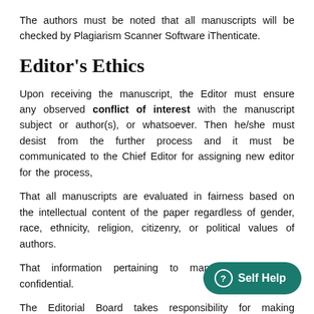The authors must be noted that all manuscripts will be checked by Plagiarism Scanner Software iThenticate.
Editor's Ethics
Upon receiving the manuscript, the Editor must ensure any observed conflict of interest with the manuscript subject or author(s), or whatsoever. Then he/she must desist from the further process and it must be communicated to the Chief Editor for assigning new editor for the process,
That all manuscripts are evaluated in fairness based on the intellectual content of the paper regardless of gender, race, ethnicity, religion, citizenry, or political values of authors.
That information pertaining to manuscripts is kept confidential.
The Editorial Board takes responsibility for making publication decisions for submitted manuscripts based on the reviewer's